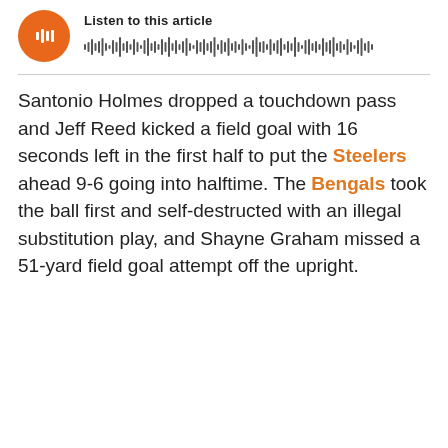[Figure (other): Audio player widget with orange circular play button and waveform visualization, labeled 'Listen to this article']
Santonio Holmes dropped a touchdown pass and Jeff Reed kicked a field goal with 16 seconds left in the first half to put the Steelers ahead 9-6 going into halftime. The Bengals took the ball first and self-destructed with an illegal substitution play, and Shayne Graham missed a 51-yard field goal attempt off the upright.